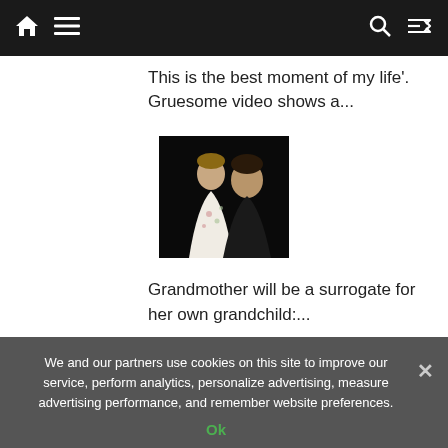Navigation bar with home icon, menu icon, search icon, and shuffle icon
This is the best moment of my life'. Gruesome video shows a...
[Figure (photo): A man and a woman posing together. The woman is wearing a white floral dress and the man is in dark clothing. Dark background.]
Grandmother will be a surrogate for her own grandchild:...
Share this article
We and our partners use cookies on this site to improve our service, perform analytics, personalize advertising, measure advertising performance, and remember website preferences.
Ok